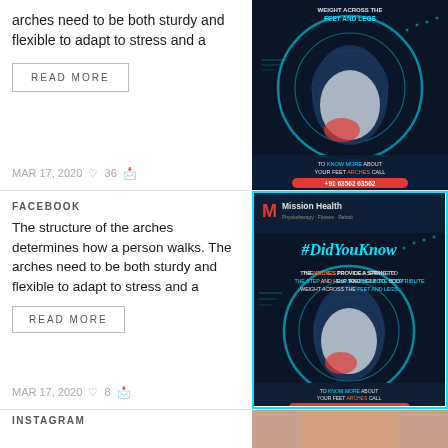arches need to be both sturdy and flexible to adapt to stress and a
READ MORE
MAR 17, 2020  ♡ 36
[Figure (photo): Mission Health promotional graphic for feet arches with foot X-ray image on dark blue background. Text: WEIGHT ACROSS THE FEET AND LEGS. TO KNOW MORE ABOUT YOUR FEET ARCHES CALL +91 63562 63562]
FACEBOOK
The structure of the arches determines how a person walks. The arches need to be both sturdy and flexible to adapt to stress and a
READ MORE
MAR 17, 2020  ♡ 8
[Figure (photo): Mission Health #DidYouKnow promotional graphic. Text: THE ARCHES PROVIDE A SPRING TO THE STEP AND HELP TO DISTRIBUTE BODY WEIGHT ACROSS THE FEET AND LEGS. TO KNOW MORE ABOUT YOUR FEET ARCHES CALL +91 63562 63562. Dark blue background with foot X-ray.]
INSTAGRAM